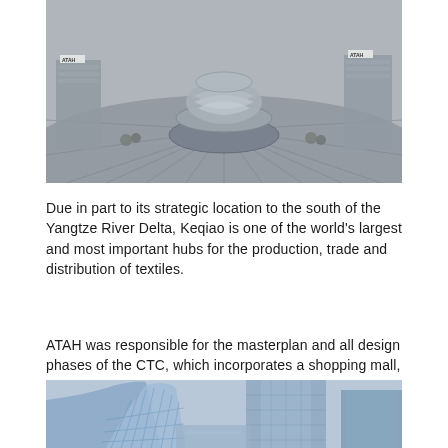[Figure (photo): Aerial view of a modern architectural structure with a large spherical or crown-shaped metallic sculpture in the center of a plaza, surrounded by commercial buildings. The ATAH logo is visible on the buildings.]
Due in part to its strategic location to the south of the Yangtze River Delta, Keqiao is one of the world’s largest and most important hubs for the production, trade and distribution of textiles.
ATAH was responsible for the masterplan and all design phases of the CTC, which incorporates a shopping mall, offices and serviced apartments connected by a new streetscape.
[Figure (photo): Ground-level view of a curved modern glass building facade with geometric triangular framing, set against a blue-toned sky. Another rectangular glass office tower is visible to the right.]